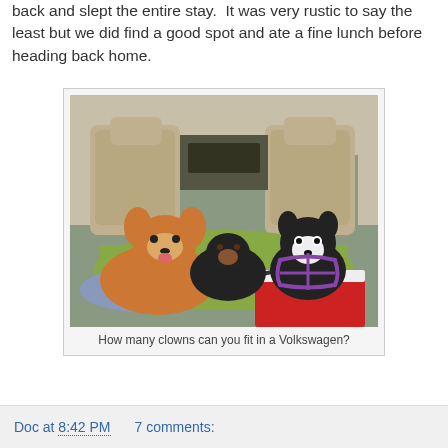back and slept the entire stay.  It was very rustic to say the least but we did find a good spot and ate a fine lunch before heading back home.
[Figure (photo): Three dogs sitting in the back cargo area of a Volkswagen SUV. A corgi on the left, a black dog in the middle, and a black and white Boston Terrier wearing a purple harness on the right. There is a green cushion/bed, a blue blanket, and a red and white cooler visible.]
How many clowns can you fit in a Volkswagen?
Doc at 8:42 PM    7 comments: